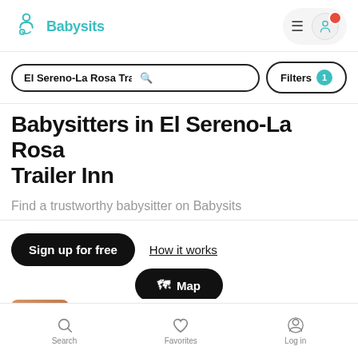Babysits
El Sereno-La Rosa Trailer Inn
Filters 1
Babysitters in El Sereno-La Rosa Trailer Inn
Find a trustworthy babysitter on Babysits
Sign up for free
How it works
Map
Search  Favorites  Log in